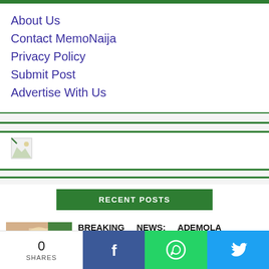About Us
Contact MemoNaija
Privacy Policy
Submit Post
Advertise With Us
[Figure (other): Broken/missing image placeholder]
RECENT POSTS
BREAKING NEWS: ADEMOLA ADELEKE OFFICIALLY DECLA...
0 SHARES